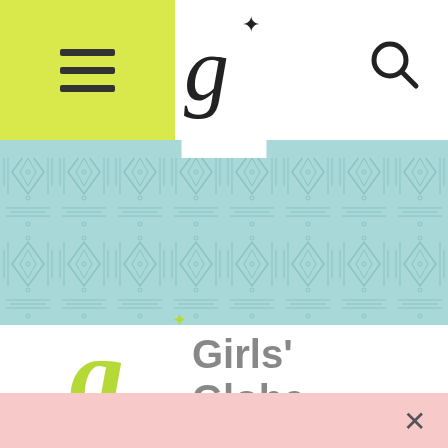[Figure (logo): Girls' Globe website screenshot showing navigation bar with hamburger menu (yellow-green background), stylized G logo in center, search icon on right; teal decorative patterned banner below; Girls' Globe logo in center of white area; pink banner at bottom with close X]
Girls' Globe navigation bar with hamburger menu, G logo, and search icon
Girls' Globe